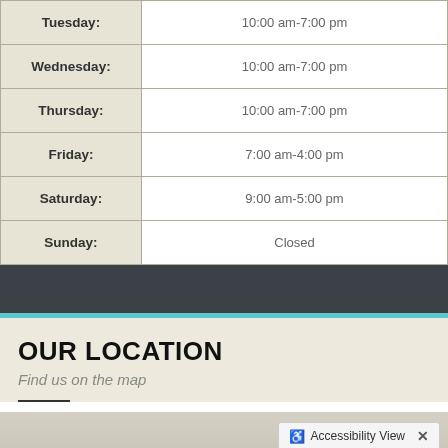| Day | Hours |
| --- | --- |
| Tuesday: | 10:00 am-7:00 pm |
| Wednesday: | 10:00 am-7:00 pm |
| Thursday: | 10:00 am-7:00 pm |
| Friday: | 7:00 am-4:00 pm |
| Saturday: | 9:00 am-5:00 pm |
| Sunday: | Closed |
OUR LOCATION
Find us on the map
[Figure (map): Map showing location, with accessibility view toggle button visible at bottom right]